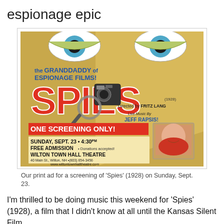espionage epic
[Figure (illustration): Print advertisement poster for a screening of 'Spies' (1928) directed by Fritz Lang. Features large cartoon eyes at top, text 'the GRANDDADDY of ESPIONAGE FILMS!', large red/orange 'SPIES' title, vintage camera and magnifying glass images, headshot photo of Jeff Rapsis, text reading 'ONE SCREENING ONLY!', 'SUNDAY, SEPT. 23 • 4:30PM', 'FREE ADMISSION • Donations accepted!', 'WILTON TOWN HALL THEATRE', '40 Main St., Wilton, NH • (603) 654-3456', 'www.wiltontownhalltheatre.com']
Our print ad for a screening of 'Spies' (1928) on Sunday, Sept. 23.
I'm thrilled to be doing music this weekend for 'Spies' (1928), a film that I didn't know at all until the Kansas Silent Film